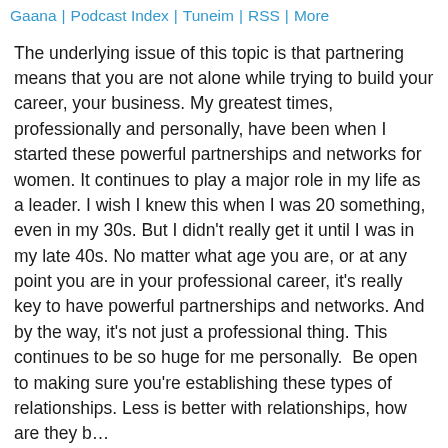Gaana | Podcast Index | Tuneim | RSS | More
The underlying issue of this topic is that partnering means that you are not alone while trying to build your career, your business. My greatest times, professionally and personally, have been when I started these powerful partnerships and networks for women. It continues to play a major role in my life as a leader. I wish I knew this when I was 20 something, even in my 30s. But I didn't really get it until I was in my late 40s. No matter what age you are, or at any point you are in your professional career, it's really key to have powerful partnerships and networks. And by the way, it's not just a professional thing. This continues to be so huge for me personally.  Be open to making sure you're establishing these types of relationships. Less is better with relationships, how are they b...